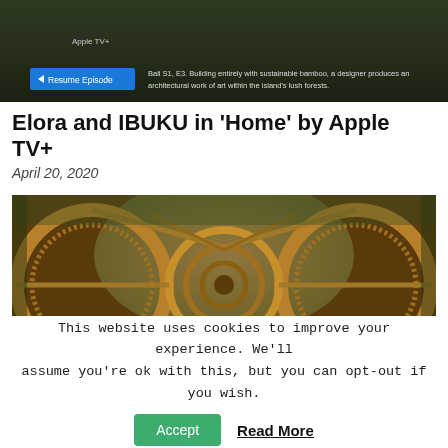[Figure (screenshot): Apple TV+ streaming interface showing a bamboo architecture episode with 'Resume Episode' button and episode description: Bali S1, E3. Building entirely with sustainable bamboo, a designer produces an architectural work of art within the island's lush forests.]
Elora and IBUKU in 'Home' by Apple TV+
April 20, 2020
[Figure (photo): Interior view of a bamboo architectural structure showing curved circular bamboo frames forming a tunnel-like passage with rope netting, surrounded by lush forest.]
This website uses cookies to improve your experience. We'll assume you're ok with this, but you can opt-out if you wish.